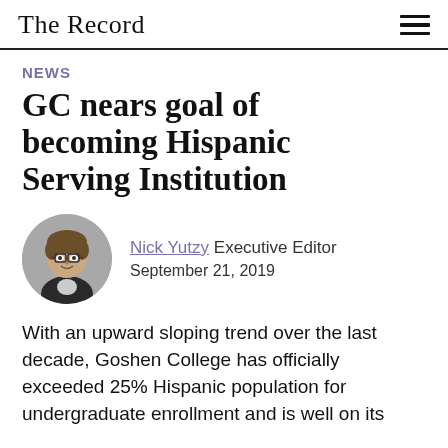The Record
NEWS
GC nears goal of becoming Hispanic Serving Institution
[Figure (photo): Circular headshot photo of Nick Yutzy, a young man with glasses and a plaid jacket, smiling against a gray background.]
Nick Yutzy Executive Editor
September 21, 2019
With an upward sloping trend over the last decade, Goshen College has officially exceeded 25% Hispanic population for undergraduate enrollment and is well on its